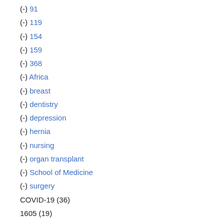(-) 91
(-) 119
(-) 154
(-) 159
(-) 368
(-) Africa
(-) breast
(-) dentistry
(-) depression
(-) hernia
(-) nursing
(-) organ transplant
(-) School of Medicine
(-) surgery
COVID-19 (36)
1605 (19)
COVID-19 variants (7)